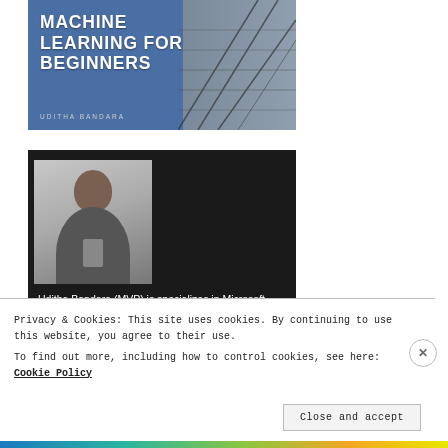[Figure (photo): Book cover for 'Machine Learning for Beginners' by Uditha Bandara — blue and grey architectural design with bold white uppercase title text]
[Figure (photo): Dark background author card showing a photo of Uditha Bandara (a man holding a microphone in a grey shirt) and a bio text below the photo]
Uditha Bandara (MVP) is specializes in Microsoft  development ,AI, Mobile App, Cloud and Software Testing technologies.  He is the South East Asia`s First XNA/DirectX MVP (Most Valuable Professional).  He had delivered sessions at various events
Privacy & Cookies: This site uses cookies. By continuing to use this website, you agree to their use.
To find out more, including how to control cookies, see here: Cookie Policy